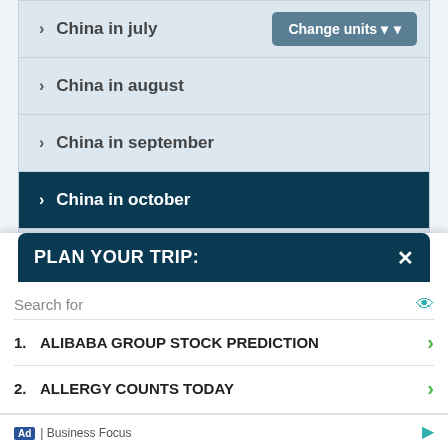> China in july
> China in august
> China in september
> China in october
> China in november
> China in december
Change units
PLAN YOUR TRIP:
Search for
1. ALIBABA GROUP STOCK PREDICTION
2. ALLERGY COUNTS TODAY
Ad | Business Focus